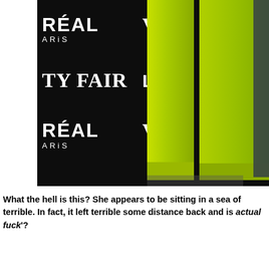[Figure (photo): A person wearing bright neon green wide-leg satin trousers and top, standing on a red carpet in front of a dark step-and-repeat backdrop with L'Oréal Paris and Vanity Fair logos repeated in white. Only the torso downward is visible.]
What the hell is this? She appears to be sitting in a sea of terrible. In fact, it left terrible some distance back and is actual fuck'?